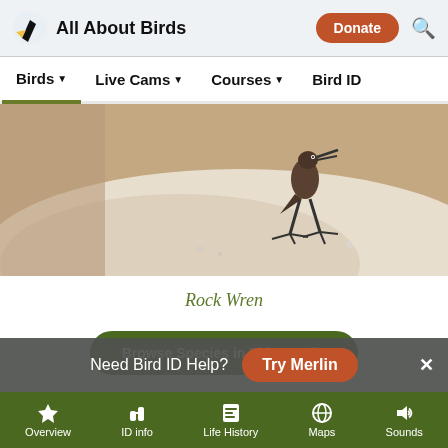All About Birds — Birds | Live Cams | Courses | Bird ID
[Figure (photo): Close-up photo of a Rock Wren perched on a rocky surface, showing bird feet and bill with sandy/beige rock texture]
Rock Wren
Browse Species in This Family
More to Read
Need Bird ID Help? Try Merlin
Overview | ID info | Life History | Maps | Sounds